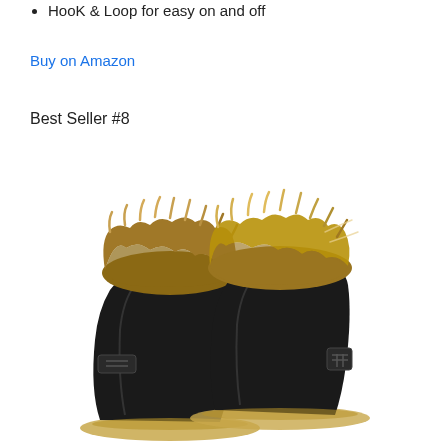HooK & Loop for easy on and off
Buy on Amazon
Best Seller #8
[Figure (photo): A pair of black fur-lined toddler boots with tan/brown faux fur trim at the top cuff and tan rubber soles, displayed on a white background.]